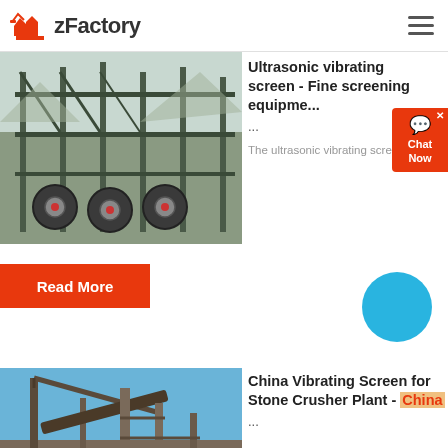zFactory
[Figure (photo): Industrial screening/processing facility with large structural frames and rotating drums, outdoor setting]
Ultrasonic vibrating screen - Fine screening equipment
...
The ultrasonic vibrating screen i...
Read More
[Figure (photo): China Vibrating Screen for Stone Crusher Plant - industrial crane and processing equipment against blue sky]
China Vibrating Screen for Stone Crusher Plant - China
...